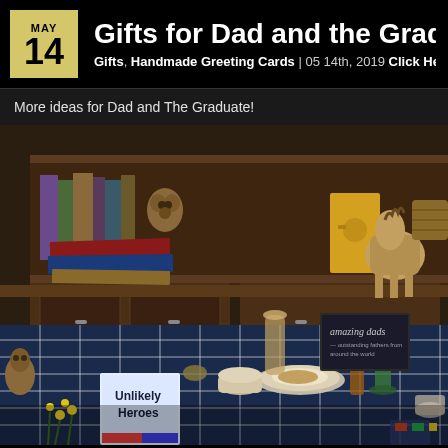MAY 14
Gifts for Dad and the Graduate
Gifts, Handmade Greeting Cards | 05 14th, 2019 Click Here T…
More ideas for Dad and The Graduate!
[Figure (photo): A cluttered shop or home table scene with books including 'Unlikely Heroes' and 'amazing dads', stuffed animals, a plaid tablecloth, glassware, plates, and various gift items. Background shows wooden shelves with more books and collectibles.]